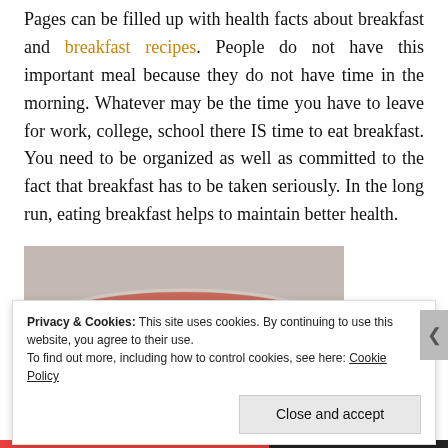Pages can be filled up with health facts about breakfast and breakfast recipes. People do not have this important meal because they do not have time in the morning. Whatever may be the time you have to leave for work, college, school there IS time to eat breakfast. You need to be organized as well as committed to the fact that breakfast has to be taken seriously. In the long run, eating breakfast helps to maintain better health.
[Figure (photo): A bowl of pink/reddish smoothie or porridge photographed from above, on a grey background.]
Privacy & Cookies: This site uses cookies. By continuing to use this website, you agree to their use.
To find out more, including how to control cookies, see here: Cookie Policy
Close and accept